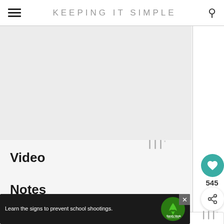KEEPING IT SIMPLE
[Figure (screenshot): Blank/light gray image placeholder area for a video or photo]
|||°  (Whisk/temperature icon)
Video
Notes
For 21 years and over!
[Figure (infographic): Heart/save button showing 545 saves, and a share button]
[Figure (infographic): What's Next panel: Easy Red Sangria with...]
[Figure (screenshot): Advertisement: Learn the signs to prevent school shootings. Sandy Hook Promise.]
|||°  (Whisk/temperature icon bottom)